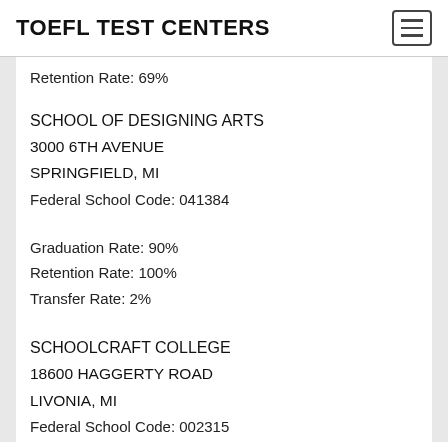TOEFL TEST CENTERS
Retention Rate: 69%
SCHOOL OF DESIGNING ARTS
3000 6TH AVENUE
SPRINGFIELD, MI
Federal School Code: 041384
Graduation Rate: 90%
Retention Rate: 100%
Transfer Rate: 2%
SCHOOLCRAFT COLLEGE
18600 HAGGERTY ROAD
LIVONIA, MI
Federal School Code: 002315